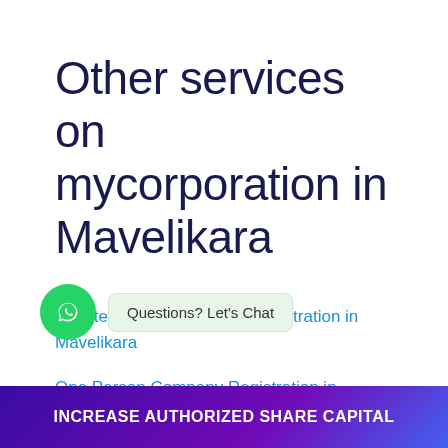Other services on mycorporation in Mavelikara
Private Limited Company Registration in Mavelikara
Questions? Let's Chat
One Person Company Registration in
INCREASE AUTHORIZED SHARE CAPITAL